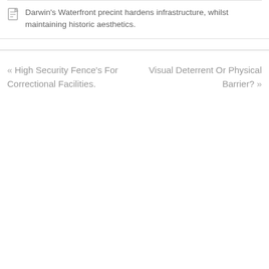Darwin's Waterfront precint hardens infrastructure, whilst maintaining historic aesthetics.
« High Security Fence's For Correctional Facilities.
Visual Deterrent Or Physical Barrier? »